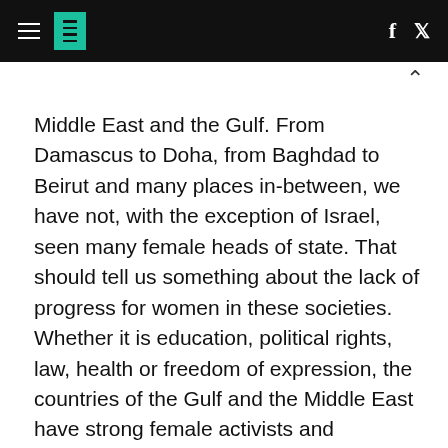HuffPost navigation header with hamburger menu, logo, Facebook and Twitter icons
Middle East and the Gulf. From Damascus to Doha, from Baghdad to Beirut and many places in-between, we have not, with the exception of Israel, seen many female heads of state. That should tell us something about the lack of progress for women in these societies. Whether it is education, political rights, law, health or freedom of expression, the countries of the Gulf and the Middle East have strong female activists and advocates but not heads of state.
2015 was not a banner year for women and